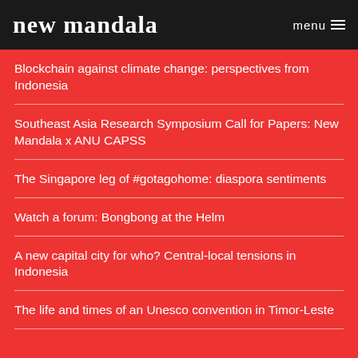new mandala  menu
Blockchain against climate change: perspectives from Indonesia
Southeast Asia Research Symposium Call for Papers: New Mandala x ANU CAPSS
The Singapore leg of #gotagohome: diaspora sentiments
Watch a forum: Bongbong at the Helm
A new capital city for who? Central-local tensions in Indonesia
The life and times of an Unesco convention in Timor-Leste